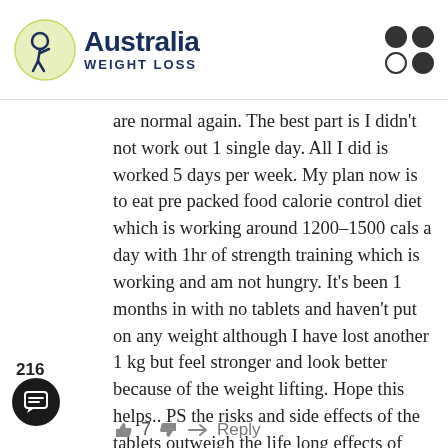Australia WEIGHT LOSS
are normal again. The best part is I didn't not work out 1 single day. All I did is worked 5 days per week. My plan now is to eat pre packed food calorie control diet which is working around 1200-1500 cals a day with 1hr of strength training which is working and am not hungry. It's been 1 months in with no tablets and haven't put on any weight although I have lost another 1 kg but feel stronger and look better because of the weight lifting. Hope this helps.. PS the risks and side effects of the tablets outweigh the life long effects of being overweight, the faster you think this the better for you! Now take them tablets lol
216
👍 7 👎 ➜ Reply